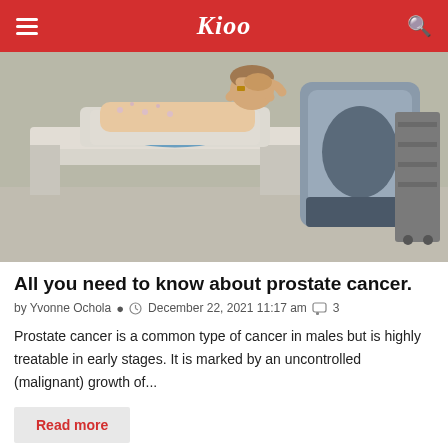Kioo
[Figure (photo): A patient lying on a medical imaging table (likely an MRI or CT scanner), with hands clasped behind their head. The large medical scanning machine is visible beside the table in a clinical room.]
All you need to know about prostate cancer.
by Yvonne Ochola  December 22, 2021 11:17 am  3
Prostate cancer is a common type of cancer in males but is highly treatable in early stages. It is marked by an uncontrolled (malignant) growth of...
Read more